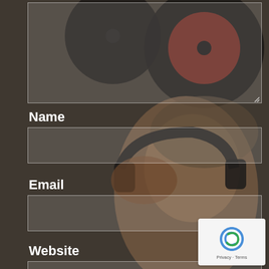[Figure (photo): Background photo of a young woman lying down with headphones and vinyl records]
Name
Email
Website
Save my name, email, and website in this browser for the next time I comment.